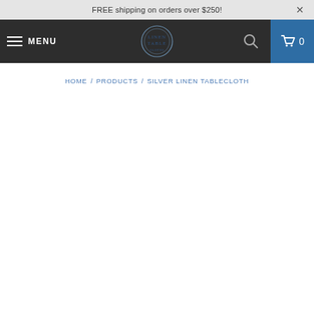FREE shipping on orders over $250!
MENU
HOME / PRODUCTS / SILVER LINEN TABLECLOTH